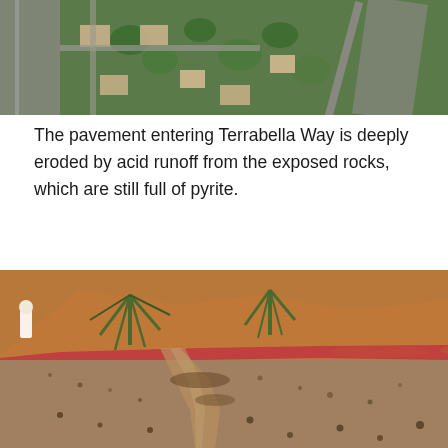[Figure (photo): Aerial/satellite view of a neighborhood with roads, trees, and houses viewed from above.]
The pavement entering Terrabella Way is deeply eroded by acid runoff from the exposed rocks, which are still full of pyrite.
[Figure (photo): Ground-level photo of deeply eroded pavement at Terrabella Way showing acid runoff damage, with reddish curb, exposed rocks, and hillside with agave plants in the background.]